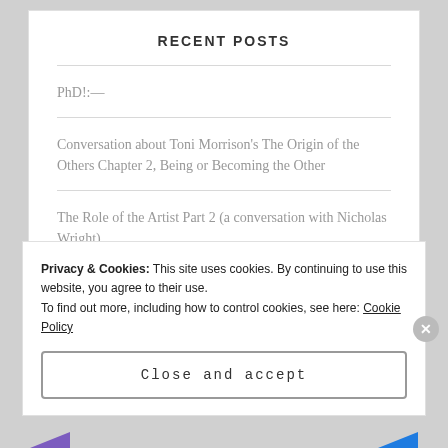RECENT POSTS
PhD!:—
Conversation about Toni Morrison's The Origin of the Others Chapter 2, Being or Becoming the Other
The Role of the Artist Part 2 (a conversation with Nicholas Wright)
Privacy & Cookies: This site uses cookies. By continuing to use this website, you agree to their use.
To find out more, including how to control cookies, see here: Cookie Policy
Close and accept